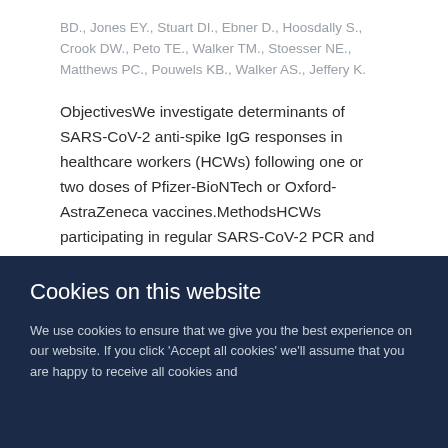BD., Jones EY., Stuart DI., Ebner D., Hoosdally S., Crook DW., Peto TE., Walker TM., Stoesser NE., Matthews PC., Pouwels KB., Walker AS., Jeffery K.
ObjectivesWe investigate determinants of SARS-CoV-2 anti-spike IgG responses in healthcare workers (HCWs) following one or two doses of Pfizer-BioNTech or Oxford-AstraZeneca vaccines.MethodsHCWs participating in regular SARS-CoV-2 PCR and antibody testing were invited for serological testing prior to first and second vaccination, and 4 weeks post-vaccination if receiving a 12-week dosing interval. Quantitative post-vaccination anti-spike antibody responses were measured using the Abbott SARS-CoV-2 IgG II Quant assay (detection threshold: ≥50 AU/ml). We used multivariable
Cookies on this website
We use cookies to ensure that we give you the best experience on our website. If you click 'Accept all cookies' we'll assume that you are happy to receive all cookies and